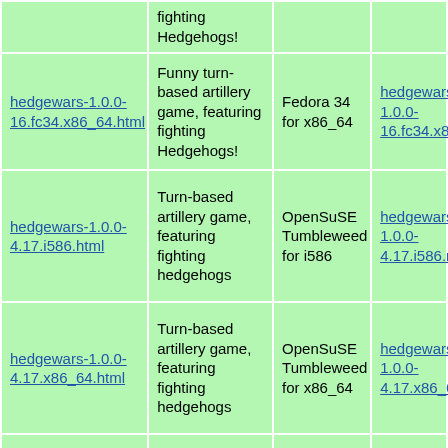| Package | Description | OS | Download |
| --- | --- | --- | --- |
| hedgewars-1.0.0-16.fc34.x86_64.html | Funny turn-based artillery game, featuring fighting Hedgehogs! | Fedora 34 for x86_64 | hedgewars-1.0.0-16.fc34.x86_64... |
| hedgewars-1.0.0-4.17.i586.html | Turn-based artillery game, featuring fighting hedgehogs | OpenSuSE Tumbleweed for i586 | hedgewars-1.0.0-4.17.i586.rpm |
| hedgewars-1.0.0-4.17.x86_64.html | Turn-based artillery game, featuring fighting hedgehogs | OpenSuSE Tumbleweed for x86_64 | hedgewars-1.0.0-4.17.x86_64.rpm |
| hedgewars-1.0.0-4.15.aarch64.html | Turn-based artillery game, featuring | OpenSuSE Ports Tumbleweed | hedgewars-1.0.0-4.15.aarch64.rpm |